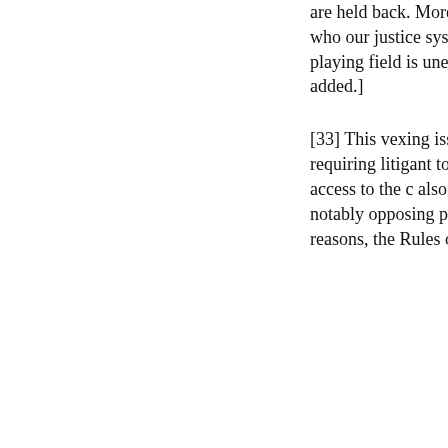are held back. More important, the most vulnerable members of our society, those who our justice system purports to protect, are further victimized because their playing field is uneven: “Opening of the Courts of Ontario for 2020”.[ [Emphasis added.]
[33] This vexing issue does to be resolved for the purposes of this case. However, requiring a litigant to be represented by counsel in a case such as this ensures full and effective access to the court and also serves to enhance the judicial experience for other stakeholders, most notably opposing parties. Lastly, it is not without paradox, for example, although for different reasons, the Rules of Civil